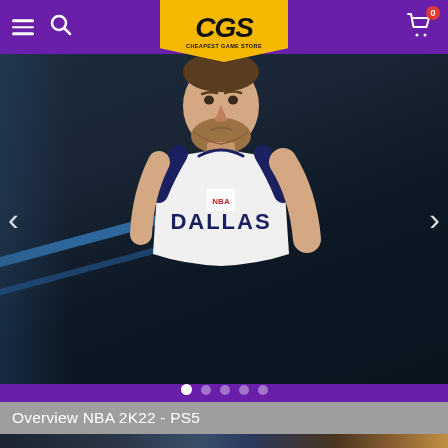Cheapest Game Store - CGS navigation bar with logo, search, and cart
[Figure (screenshot): NBA 2K22 game screenshot showing a Dallas Mavericks player (Dirk Nowitzki) in white jersey on a dark basketball court background with blue lighting]
Overview NBA 2K22 - PS5
[Figure (screenshot): Partial bottom image strip showing NBA 2K22 gameplay or promotional imagery]